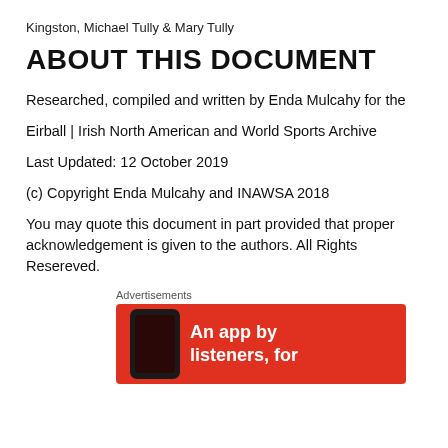Kingston, Michael Tully & Mary Tully
ABOUT THIS DOCUMENT
Researched, compiled and written by Enda Mulcahy for the
Eirball | Irish North American and World Sports Archive
Last Updated: 12 October 2019
(c) Copyright Enda Mulcahy and INAWSA 2018
You may quote this document in part provided that proper acknowledgement is given to the authors. All Rights Resereved.
Advertisements
[Figure (other): Red advertisement banner with a phone image on the left and text reading 'An app by listeners, for' in white bold text on the right]